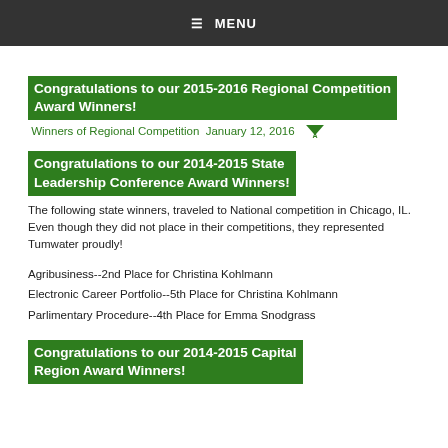≡ MENU
Congratulations to our 2015-2016 Regional Competition Award Winners!
Winners of Regional Competition January 12, 2016
Congratulations to our 2014-2015 State Leadership Conference Award Winners!
The following state winners, traveled to National competition in Chicago, IL.  Even though they did not place in their competitions, they represented Tumwater proudly!
Agribusiness--2nd Place for Christina Kohlmann
Electronic Career Portfolio--5th Place for Christina Kohlmann
Parlimentary Procedure--4th Place for Emma Snodgrass
Congratulations to our 2014-2015 Capital Region Award Winners!